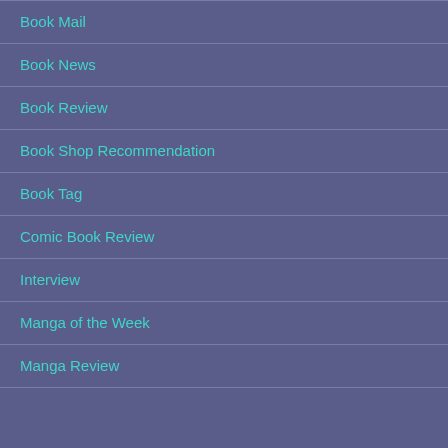Book Mail
Book News
Book Review
Book Shop Recommendation
Book Tag
Comic Book Review
Interview
Manga of the Week
Manga Review